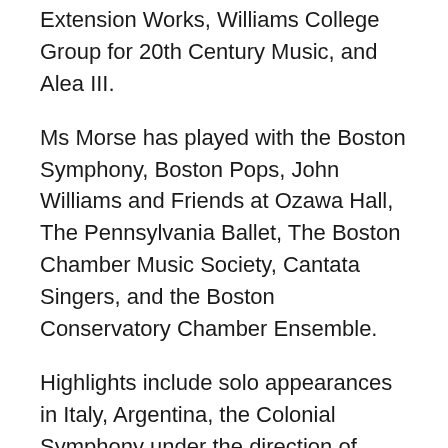Extension Works, Williams College Group for 20th Century Music, and Alea III.
Ms Morse has played with the Boston Symphony, Boston Pops, John Williams and Friends at Ozawa Hall, The Pennsylvania Ballet, The Boston Chamber Music Society, Cantata Singers, and the Boston Conservatory Chamber Ensemble.
Highlights include solo appearances in Italy, Argentina, the Colonial Symphony under the direction of Oscar Shumsky, the Goldovsky Summer Music Festival, MIT Chamber Players, the New England Philharmonic, and at a Boston Symphony Orchestrated Event; and recitals at Lincoln Center Library for the Performing Arts